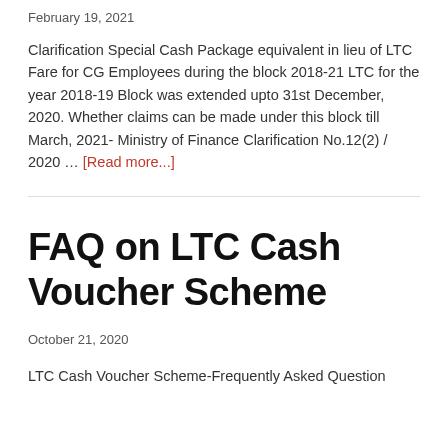February 19, 2021
Clarification Special Cash Package equivalent in lieu of LTC Fare for CG Employees during the block 2018-21 LTC for the year 2018-19 Block was extended upto 31st December, 2020. Whether claims can be made under this block till March, 2021- Ministry of Finance Clarification No.12(2) / 2020 … [Read more...]
FAQ on LTC Cash Voucher Scheme
October 21, 2020
LTC Cash Voucher Scheme-Frequently Asked Question